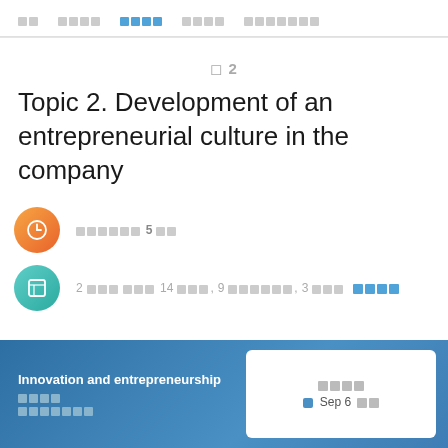□□  □□□□  □□□□  □□□□  □□□□□□□
□ 2
Topic 2. Development of an entrepreneurial culture in the company
□□□□□□ 5 □□
2 □□□ □□□ 14 □□□, 9 □□□□□□, 3 □□□
Innovation and entrepreneurship
□□□□
□□□□□□□
□□□□
□ Sep 6 □□